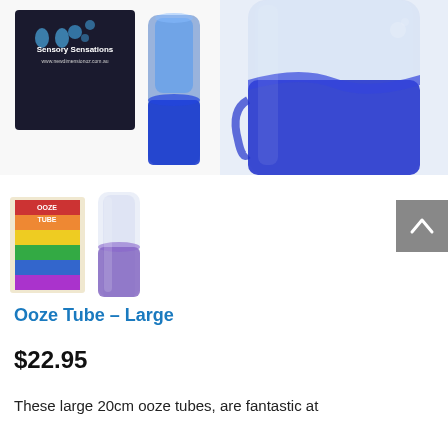[Figure (photo): Product photo showing Sensory Sensations branded package (dark background with logo and website www.newdimensionoz.com.au) alongside a blue cylindrical ooze tube tilted to show blue liquid inside.]
[Figure (photo): Close-up photo of a cylindrical clear tube filled with bright blue viscous liquid (ooze), showing the fluid texture and bubbles.]
[Figure (photo): Thumbnail images showing the Ooze Tube product: a small product box with colorful label reading 'OOZE TUBE' and a small clear tube with purple/blue fluid inside.]
Ooze Tube – Large
$22.95
These large 20cm ooze tubes, are fantastic at